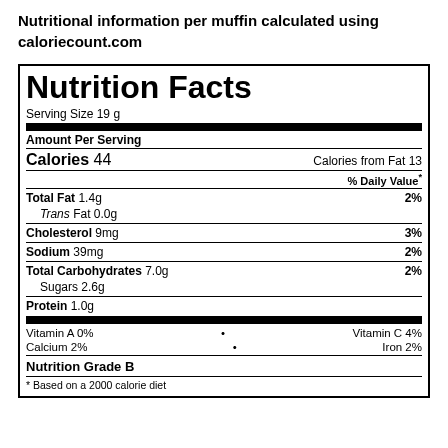Nutritional information per muffin calculated using caloriecount.com
| Nutrition Facts |  |
| Serving Size 19 g |  |
| Amount Per Serving |  |
| Calories 44 | Calories from Fat 13 |
| % Daily Value* |  |
| Total Fat 1.4g | 2% |
| Trans Fat 0.0g |  |
| Cholesterol 9mg | 3% |
| Sodium 39mg | 2% |
| Total Carbohydrates 7.0g | 2% |
| Sugars 2.6g |  |
| Protein 1.0g |  |
| Vitamin A 0% | Vitamin C 4% |
| Calcium 2% | Iron 2% |
| Nutrition Grade B |  |
| * Based on a 2000 calorie diet |  |